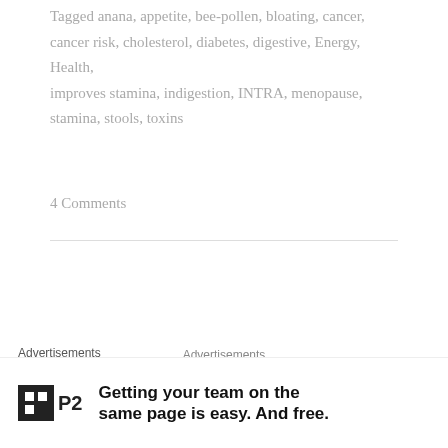Tagged anana, appetite, bee-pollen, bloating, cancer, cancer risk, cholesterol, diabetes, digestive, Energy, Health, improves stamina, indigestion, INTRA, menopause, stamina, stools, toxins
4 Comments
[Figure (illustration): Orange background advertisement banner with white doodle illustrations of ladybugs, flowers, hearts, diamonds, leaves, a crown, and musical notes on an orange background.]
Advertisements
Advertisements
[Figure (logo): P2 logo: black square with white text showing a grid icon and 'P2' text]
Getting your team on the same page is easy. And free.